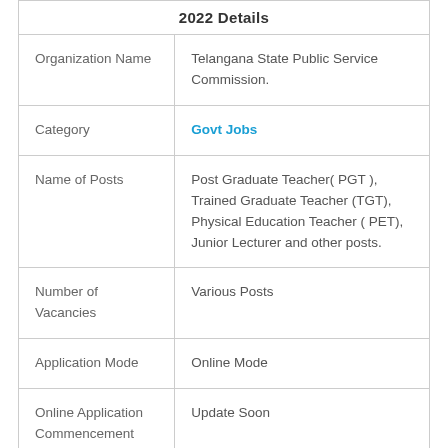|  | 2022 Details |
| --- | --- |
| Organization Name | Telangana State Public Service Commission. |
| Category | Govt Jobs |
| Name of Posts | Post Graduate Teacher( PGT ), Trained Graduate Teacher (TGT), Physical Education Teacher ( PET), Junior Lecturer and other posts. |
| Number of Vacancies | Various Posts |
| Application Mode | Online Mode |
| Online Application Commencement From | Update Soon |